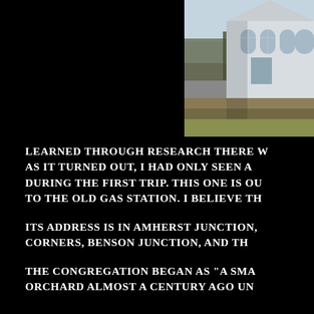[Figure (photo): Photograph of a white church building with Gothic-style arched windows, surrounded by bare shrubs and grass, taken in early spring or winter.]
LEARNED THROUGH RESEARCH THERE W As it turned out, I had only seen a DURING THE FIRST TRIP. This one is Ou TO THE OLD GAS STATION. I BELIEVE TH
ITS ADDRESS IS IN AMHERST JUNCTION, Corners, Benson Junction, and Th
The congregation began as "a sma ORCHARD ALMOST A CENTURY AGO UN